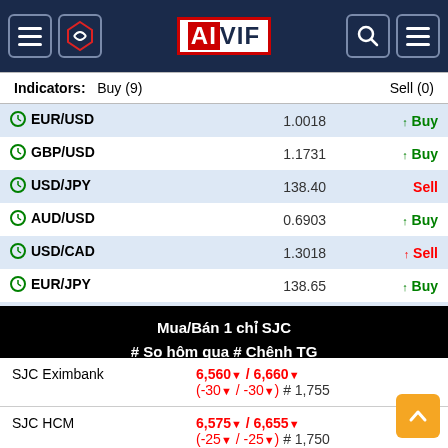AIVIF navigation header
Indicators: Buy (9)   Sell (0)
| Pair | Price | Signal |
| --- | --- | --- |
| EUR/USD | 1.0018 | ↑ Buy |
| GBP/USD | 1.1731 | ↑ Buy |
| USD/JPY | 138.40 | Sell |
| AUD/USD | 0.6903 | ↑ Buy |
| USD/CAD | 1.3018 | ↑ Sell |
| EUR/JPY | 138.65 | ↑ Buy |
| EUR/CHF | 0.9692 | ↑ Buy |
Mua/Bán 1 chỉ SJC
# So hôm qua # Chênh TG
| Bank | Price/Change |
| --- | --- |
| SJC Eximbank | 6,560▼ / 6,660▼
(-30▼ / -30▼) # 1,755 |
| SJC HCM | 6,575▼ / 6,655▼
(-25▼ / -25▼) # 1,750 |